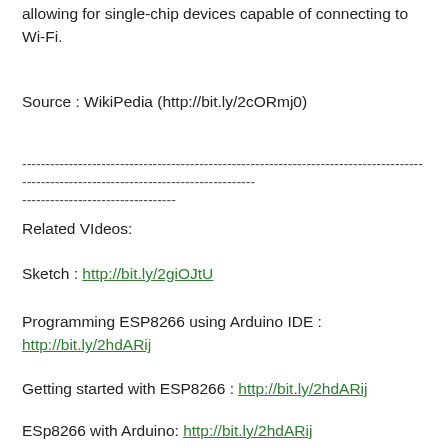allowing for single-chip devices capable of connecting to Wi-Fi.
Source : WikiPedia (http://bit.ly/2cORmj0)
----------------------------------------------------------------------------------------------------------------------------------------
Related VIdeos:
Sketch : http://bit.ly/2giOJtU
Programming ESP8266 using Arduino IDE : http://bit.ly/2hdARij
Getting started with ESP8266 : http://bit.ly/2hdARij
ESp8266 with Arduino: http://bit.ly/2hdARij
ESP8266 with Raspberry Pi : http://bit.ly/2hdARij